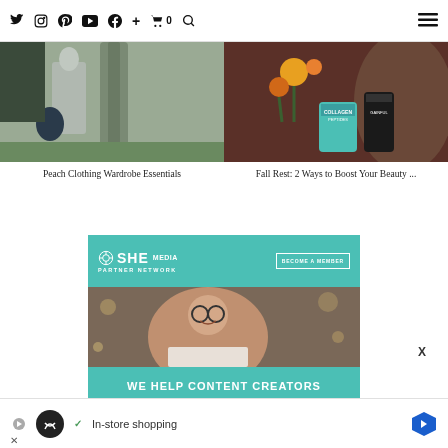Navigation bar with social icons: Twitter, Instagram, Pinterest, YouTube, Facebook, Plus, Cart (0), Search, Hamburger menu
[Figure (photo): Woman in grey outfit standing near a tree holding a bag - Peach Clothing Wardrobe Essentials thumbnail]
Peach Clothing Wardrobe Essentials
[Figure (photo): Woman with flowers and collagen peptide supplement products - Fall Rest beauty article thumbnail]
Fall Rest: 2 Ways to Boost Your Beauty ...
[Figure (infographic): SHE Media Partner Network advertisement banner with 'BECOME A MEMBER' button, smiling woman with glasses working on laptop, and 'WE HELP CONTENT CREATORS' text on teal background]
In-store shopping